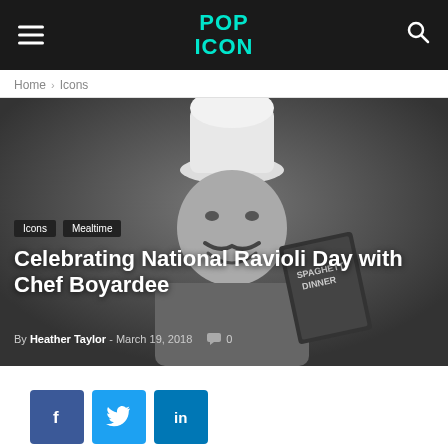POP ICON
Home › Icons
[Figure (photo): Black and white photograph of Chef Boyardee (Ettore Boiardi) wearing a tall white chef's hat and holding a box of Spaghetti Dinner, smiling at the camera. Tags 'Icons' and 'Mealtime' are overlaid at the bottom left, along with the article title 'Celebrating National Ravioli Day with Chef Boyardee' and byline 'By Heather Taylor - March 19, 2018  0']
Celebrating National Ravioli Day with Chef Boyardee
By Heather Taylor - March 19, 2018  0
[Figure (other): Social share buttons: Facebook (f), Twitter (bird icon), LinkedIn (in)]